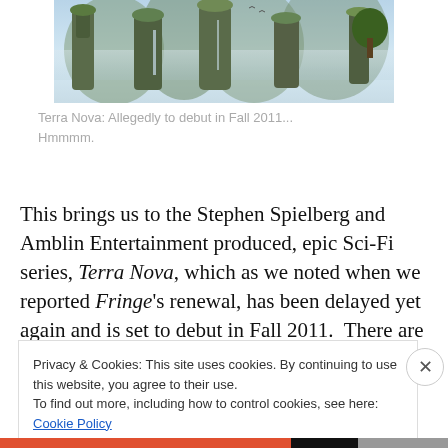[Figure (photo): Scenic fantasy landscape with tall floating rock formations covered in vegetation, mist, and waterfalls — promotional image for Terra Nova TV series]
Terra Nova: Allegedly to debut in Fall 2011... Hmmmm.
This brings us to the Stephen Spielberg and Amblin Entertainment produced, epic Sci-Fi series, Terra Nova, which as we noted when we reported Fringe's renewal, has been delayed yet again and is set to debut in Fall 2011.  There are some serious issues with Terra
Privacy & Cookies: This site uses cookies. By continuing to use this website, you agree to their use.
To find out more, including how to control cookies, see here: Cookie Policy
Close and accept